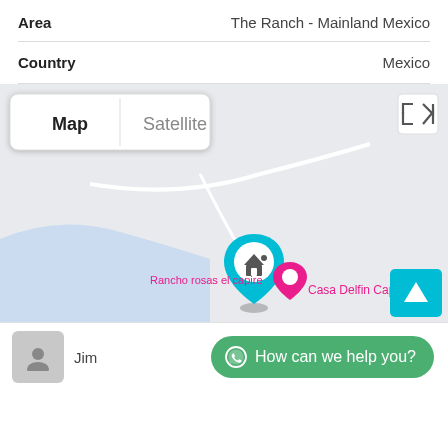Area	The Ranch - Mainland Mexico
Country	Mexico
[Figure (map): Google Maps view showing a coastal area in Mexico. Map/Satellite toggle buttons in top-left. Fullscreen icon in top-right. A cyan location pin with a house icon marks the property. Pink text labels read 'Rancho rosas el capire' and 'Casa Delfin Capire'. Blue water area visible in bottom-left. A cyan up-arrow button in bottom-right corner.]
Jim
How can we help you?